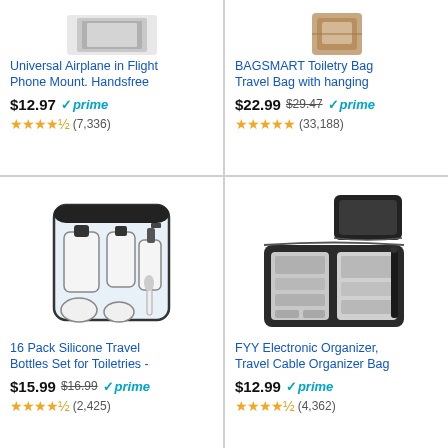[Figure (photo): Universal Airplane in Flight Phone Mount product image]
Universal Airplane in Flight Phone Mount. Handsfree
$12.97 prime (7,336) 4.5 stars
[Figure (photo): BAGSMART Toiletry Bag product image]
BAGSMART Toiletry Bag Travel Bag with hanging
$22.99 $29.47 prime (33,188) 5 stars
[Figure (photo): 16 Pack Silicone Travel Bottles Set product image]
16 Pack Silicone Travel Bottles Set for Toiletries -
$15.99 $16.99 prime (2,425) 4.5 stars
[Figure (photo): FYY Electronic Organizer Travel Cable Organizer Bag product image]
FYY Electronic Organizer, Travel Cable Organizer Bag
$12.99 prime (4,362) 4.5 stars
Ads by Amazon
Destinations